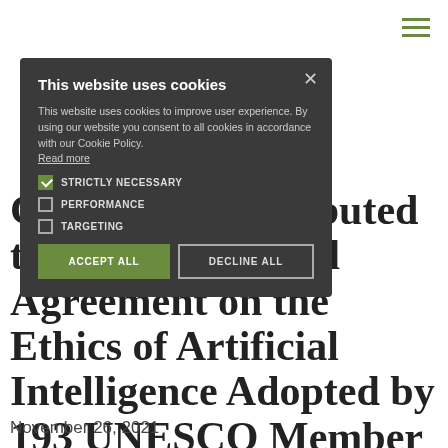Blog
Global AI Contributed to the First Global Agreement on the Ethics of Artificial Intelligence Adopted by 193 UNESCO Member States
[Figure (screenshot): Cookie consent modal popup with dark background showing options: Strictly Necessary (checked), Performance (unchecked), Targeting (unchecked), with Accept All and Decline All buttons]
November 26, 2021